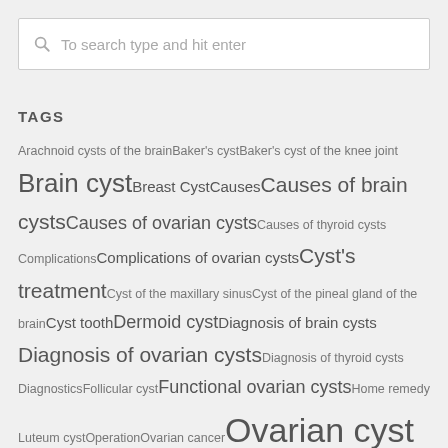[Figure (other): Search input box with placeholder text 'To search type and hit enter']
TAGS
Arachnoid cysts of the brain Baker's cyst Baker's cyst of the knee joint Brain cyst Breast Cyst Causes Causes of brain cysts Causes of ovarian cysts Causes of thyroid cysts Complications Complications of ovarian cysts Cyst's treatment Cyst of the maxillary sinus Cyst of the pineal gland of the brain Cyst tooth Dermoid cyst Diagnosis of brain cysts Diagnosis of ovarian cysts Diagnosis of thyroid cysts Diagnostics Follicular cyst Functional ovarian cysts Home remedy Luteum cyst Operation Ovarian cancer Ovarian cyst Ovarian cyst and pregnancy Pregnancy Symptoms Symptoms of brain cysts Symptoms of ovarian cysts Symptoms of thyroid cysts Tailbone cyst Tailbone cyst Treatment Thyroid cysts Treatment Treatment of brain ...